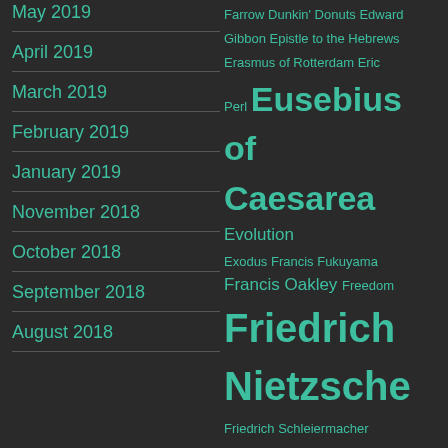May 2019
April 2019
March 2019
February 2019
January 2019
November 2018
October 2018
September 2018
August 2018
Farrow Dunkin' Donuts Edward Gibbon Epistle to the Hebrews Erasmus of Rotterdam Eric Perl Eusebius of Caesarea Evolution Exodus Francis Fukuyama Francis Oakley Freedom Friedrich Nietzsche Friedrich Schleiermacher Fyodor Dostoyevsky Gabriel Biel Gerard O'Daly Gershom Scholem Gospel According to John Gospel According to Luke Gospel According to Mark